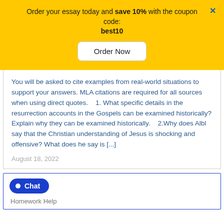Order your essay today and save 10% with the coupon code: best10
Order Now
You will be asked to cite examples from real-world situations to support your answers. MLA citations are required for all sources when using direct quotes.    1. What specific details in the resurrection accounts in the Gospels can be examined historically? Explain why they can be examined historically.    2.Why does Albl say that the Christian understanding of Jesus is shocking and offensive? What does he say is [...]
August 18, 2022
Chat
Homework Help